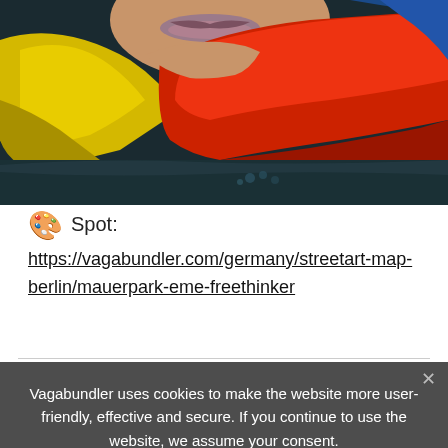[Figure (photo): Close-up photo of a colorful street art mural showing a face with yellow and red clothing/scarf details against a dark background]
🎨 Spot:
https://vagabundler.com/germany/streetart-map-berlin/mauerpark-eme-freethinker
Vagabundler uses cookies to make the website more user-friendly, effective and secure. If you continue to use the website, we assume your consent.
O.k.   Nein